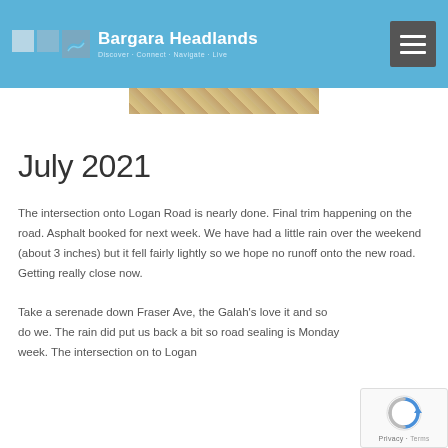Bargara Headlands
[Figure (photo): Partial view of a road or sandy ground, aerial or close-up shot]
July 2021
The intersection onto Logan Road is nearly done. Final trim happening on the road. Asphalt booked for next week. We have had a little rain over the weekend (about 3 inches) but it fell fairly lightly so we hope no runoff onto the new road. Getting really close now.
Take a serenade down Fraser Ave, the Galah's love it and so do we. The rain did put us back a bit so road sealing is Monday week. The intersection on to Logan